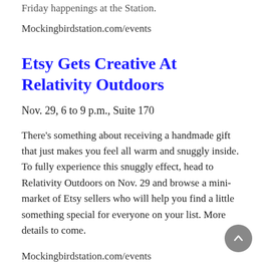Friday happenings at the Station.
Mockingbirdstation.com/events
Etsy Gets Creative At Relativity Outdoors
Nov. 29, 6 to 9 p.m., Suite 170
There's something about receiving a handmade gift that just makes you feel all warm and snuggly inside. To fully experience this snuggly effect, head to Relativity Outdoors on Nov. 29 and browse a mini-market of Etsy sellers who will help you find a little something special for everyone on your list. More details to come.
Mockingbirdstation.com/events
Partner's Card Is In Full Swing